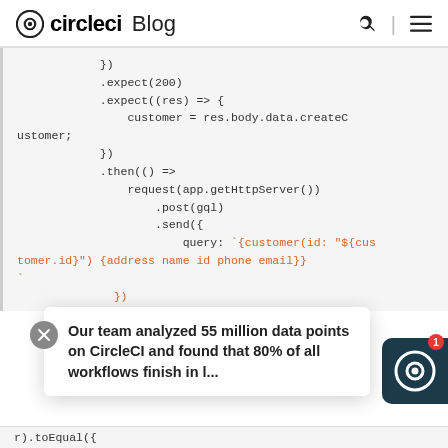circleci Blog
[Figure (screenshot): Code block showing JavaScript test code with .expect(200), .expect((res) => { customer = res.body.data.createCustomer; }), .then(() => request(app.getHttpServer()).post(gql).send({ query: `{customer(id: "${customer.id}") {address name id phone email}}` })]
Our team analyzed 55 million data points on CircleCI and found that 80% of all workflows finish in l...
[Figure (logo): CircleCI logo badge in dark teal with notification badge showing 1]
r).toEqual({